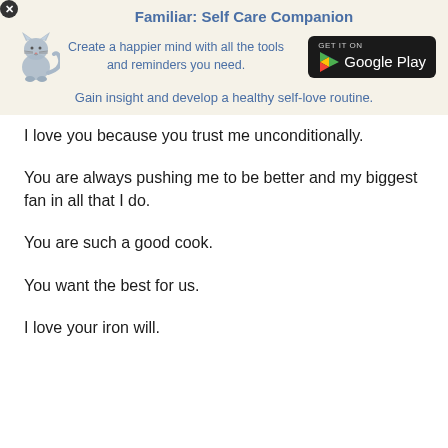[Figure (screenshot): App advertisement banner for 'Familiar: Self Care Companion' with cat icon and Google Play button]
I love you because you trust me unconditionally.
You are always pushing me to be better and my biggest fan in all that I do.
You are such a good cook.
You want the best for us.
I love your iron will.